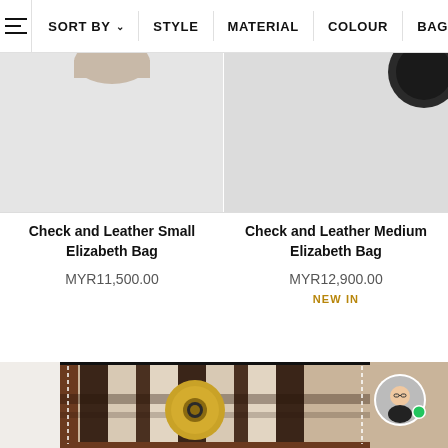SORT BY  STYLE  MATERIAL  COLOUR  BAG
[Figure (photo): Partial top view of Check and Leather Small Elizabeth Bag on grey background]
[Figure (photo): Partial top view of Check and Leather Medium Elizabeth Bag on grey background, showing dark round element]
Check and Leather Small Elizabeth Bag
MYR11,500.00
Check and Leather Medium Elizabeth Bag
MYR12,900.00
NEW IN
[Figure (photo): Burberry check and leather small bag with gold circular lock, brown and beige tartan pattern with dark brown leather trim, shown from front]
[Figure (photo): Live chat avatar of a person wearing glasses with green online indicator dot]